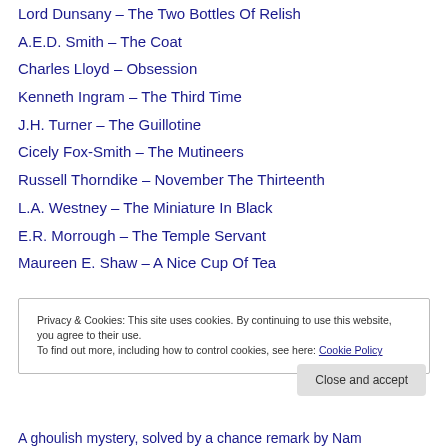Lord Dunsany – The Two Bottles Of Relish
A.E.D. Smith – The Coat
Charles Lloyd – Obsession
Kenneth Ingram – The Third Time
J.H. Turner – The Guillotine
Cicely Fox-Smith – The Mutineers
Russell Thorndike – November The Thirteenth
L.A. Westney – The Miniature In Black
E.R. Morrough – The Temple Servant
Maureen E. Shaw – A Nice Cup Of Tea
Privacy & Cookies: This site uses cookies. By continuing to use this website, you agree to their use.
To find out more, including how to control cookies, see here: Cookie Policy
A ghoulish mystery, solved by a chance remark by Nam